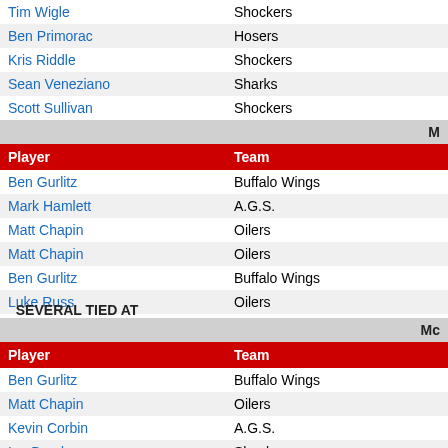| Player | Team |
| --- | --- |
| Tim Wigle | Shockers |
| Ben Primorac | Hosers |
| Kris Riddle | Shockers |
| Sean Veneziano | Sharks |
| Scott Sullivan | Shockers |
| Player | Team |
| --- | --- |
| Ben Gurlitz | Buffalo Wings |
| Mark Hamlett | A.G.S. |
| Matt Chapin | Oilers |
| Matt Chapin | Oilers |
| Ben Gurlitz | Buffalo Wings |
| Luke Russ | Oilers |
| Chip Hoppin | Orange Co. Secret Clowns |
| Kevin Corbin | A.G.S. |
| Patrick Groft | A.G.S. |
SEVERAL TIED AT
| Player | Team |
| --- | --- |
| Ben Gurlitz | Buffalo Wings |
| Matt Chapin | Oilers |
| Kevin Corbin | A.G.S. |
| Ian Bond | Shockers |
| ... | Buffalo Wings |